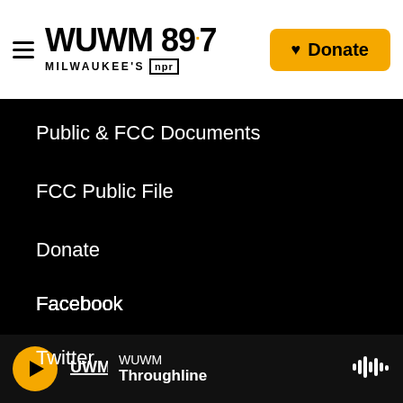WUWM 89.7 MILWAUKEE'S NPR | Donate
Public & FCC Documents
FCC Public File
Donate
Facebook
Twitter
Instagram
WUWM Throughline